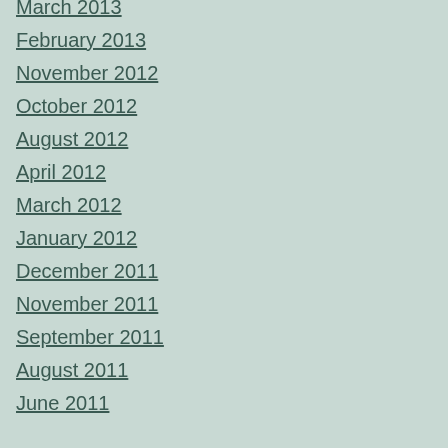March 2013
February 2013
November 2012
October 2012
August 2012
April 2012
March 2012
January 2012
December 2011
November 2011
September 2011
August 2011
June 2011